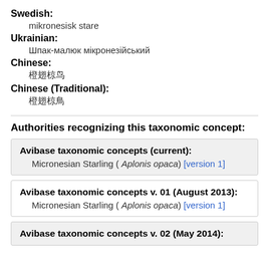Swedish:
mikronesisk stare
Ukrainian:
Шпак-малюк мікронезійський
Chinese:
橙翅椋鸟
Chinese (Traditional):
橙翅椋鳥
Authorities recognizing this taxonomic concept:
Avibase taxonomic concepts (current): Micronesian Starling ( Aplonis opaca) [version 1]
Avibase taxonomic concepts v. 01 (August 2013): Micronesian Starling ( Aplonis opaca) [version 1]
Avibase taxonomic concepts v. 02 (May 2014):